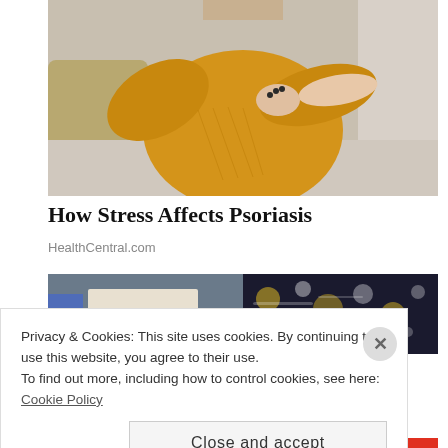[Figure (photo): Woman in yellow knit sweater sitting on a light-colored couch, holding her arm/wrist, appearing to scratch or examine skin on her forearm. Dark nail polish visible.]
How Stress Affects Psoriasis
HealthCentral.com
[Figure (photo): Two side-by-side images: left shows what appears to be a shop display with numbers, right shows a bokeh nighttime city scene with lights.]
Privacy & Cookies: This site uses cookies. By continuing to use this website, you agree to their use.
To find out more, including how to control cookies, see here: Cookie Policy
Close and accept